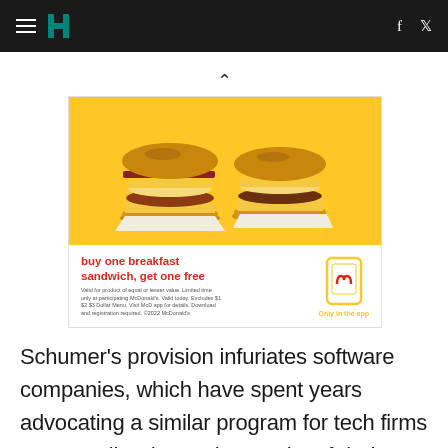HuffPost header with hamburger menu, logo, facebook and twitter icons
[Figure (illustration): McDonald's advertisement for buy one breakfast sandwich, get one free promotion showing two breakfast sandwiches on a yellow background with McDonald's app logo]
Schumer's provision infuriates software companies, which have spent years advocating a similar program for tech firms to no avail. "There's been a lot of dodgy business method